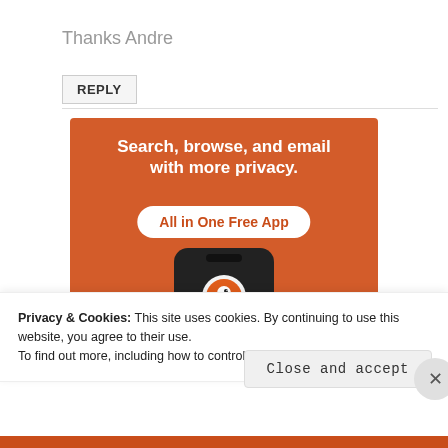Thanks Andre
REPLY
[Figure (infographic): DuckDuckGo advertisement banner on orange background. Text reads: 'Search, browse, and email with more privacy. All in One Free App'. Shows a smartphone with DuckDuckGo duck logo.]
Privacy & Cookies: This site uses cookies. By continuing to use this website, you agree to their use.
To find out more, including how to control cookies, see here: Cookie Policy
Close and accept